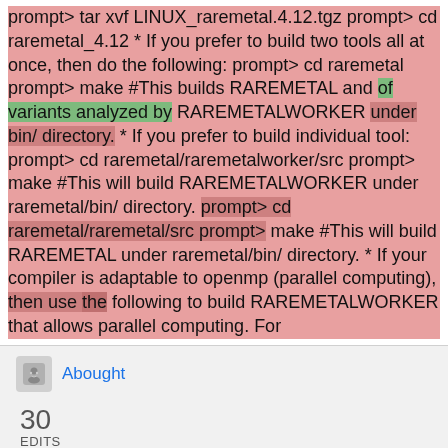prompt> tar xvf LINUX_raremetal.4.12.tgz prompt> cd raremetal_4.12 * If you prefer to build two tools all at once, then do the following: prompt> cd raremetal prompt> make #This builds RAREMETAL and of variants analyzed by RAREMETALWORKER under bin/ directory.  * If you prefer to build individual tool: prompt> cd raremetal/raremetalworker/src prompt> make #This will build RAREMETALWORKER under raremetal/bin/ directory.  prompt> cd raremetal/raremetal/src prompt> make #This will build RAREMETAL under raremetal/bin/ directory. * If your compiler is adaptable to openmp (parallel computing), then use the following to build RAREMETALWORKER that allows parallel computing. For
Abought
30 EDITS